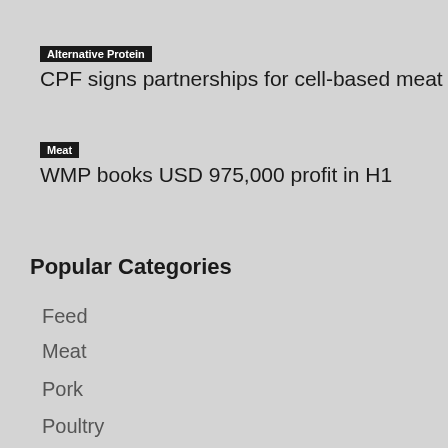Alternative Protein
CPF signs partnerships for cell-based meat
Meat
WMP books USD 975,000 profit in H1
Popular Categories
Feed
Meat
Pork
Poultry